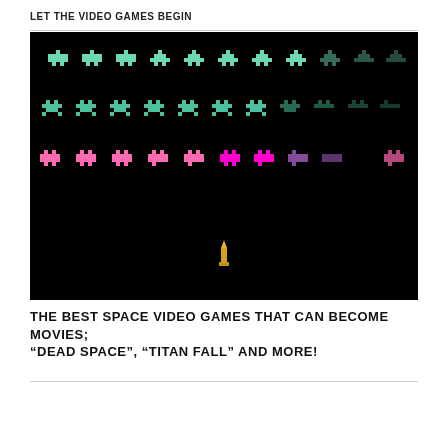LET THE VIDEO GAMES BEGIN
[Figure (photo): Screenshot of a Space Invaders-style video game showing rows of pixel-art alien sprites on a black background: top two rows in cyan/teal, bottom row in pink and purple. A yellow rocket/missile appears in the lower center of the screen.]
THE BEST SPACE VIDEO GAMES THAT CAN BECOME MOVIES; “DEAD SPACE”, “TITAN FALL” AND MORE!